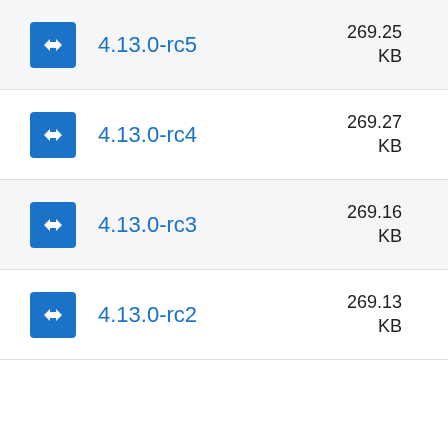4.13.0-rc5  269.25 KB
4.13.0-rc4  269.27 KB
4.13.0-rc3  269.16 KB
4.13.0-rc2  269.13 KB